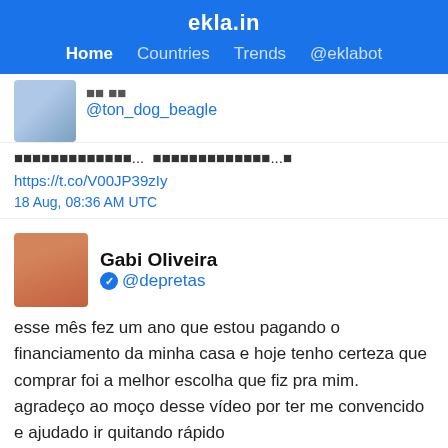ekla.in
Home  Countries  Trends  @eklabot
@ton_dog_beagle
🐾🐾🐾🐾🐾🐾🐾🐾🐾🐾🐾🐾🐾... 🐾🐾🐾🐾🐾🐾🐾🐾🐾🐾🐾🐾🐾...🐾 https://t.co/V00JP39zIy
18 Aug, 08:36 AM UTC
Gabi Oliveira
@depretas
esse mês fez um ano que estou pagando o financiamento da minha casa e hoje tenho certeza que comprar foi a melhor escolha que fiz pra mim. agradeço ao moço desse vídeo por ter me convencido e ajudado ir quitando rápido
[Figure (screenshot): Image preview showing 'COMO QUITAR' text on yellow/black background with a person on the left side]